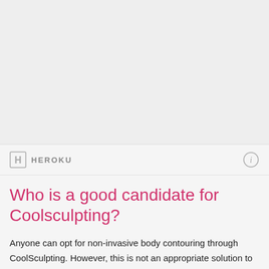[Figure (photo): Photo placeholder area showing a medical/body contouring image]
HEROKU
Who is a good candidate for Coolsculpting?
Anyone can opt for non-invasive body contouring through CoolSculpting. However, this is not an appropriate solution to address obesity. Ideal patients are those who practice eating healthy and regularly exercising but are